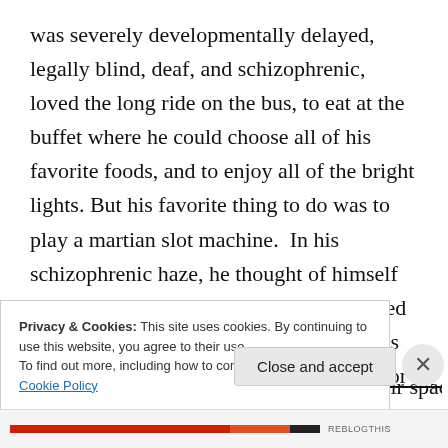was severely developmentally delayed, legally blind, deaf, and schizophrenic, loved the long ride on the bus, to eat at the buffet where he could choose all of his favorite foods, and to enjoy all of the bright lights. But his favorite thing to do was to play a martian slot machine.  In his schizophrenic haze, he thought of himself as an alien, so he felt somewhat vindicated to see a slot machine “of his people.”  His $25 in free gambling money would last for hours as he would always bid the  minimum, 5 cents.  Every time the symbols on the machine matched, aliens would swoop down to bring them into their spaceship
Privacy & Cookies: This site uses cookies. By continuing to use this website, you agree to their use.
To find out more, including how to control cookies, see here: Cookie Policy